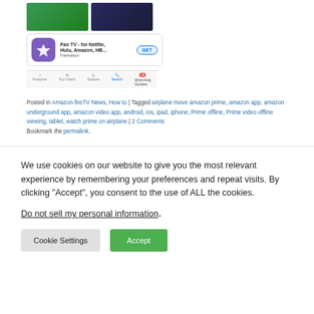[Figure (screenshot): App store screenshot showing Fan TV app listing with navigation bar]
Posted in Amazon fireTV News, How to | Tagged airplane move amazon prime, amazon app, amazon underground app, amazon video app, android, ios, ipad, iphone, Prime offline, Prime video offline viewing, tablet, watch prime on airplane | 2 Comments Bookmark the permalink.
We use cookies on our website to give you the most relevant experience by remembering your preferences and repeat visits. By clicking “Accept”, you consent to the use of ALL the cookies.
Do not sell my personal information.
Cookie Settings | Accept